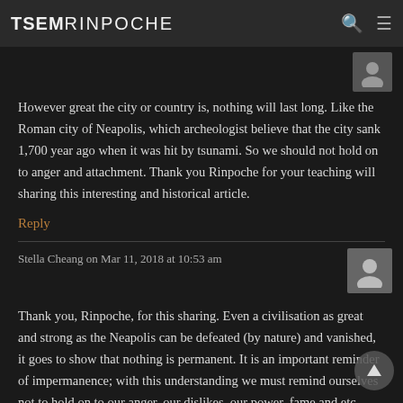TSEM RINPOCHE
However great the city or country is, nothing will last long. Like the Roman city of Neapolis, which archeologist believe that the city sank 1,700 year ago when it was hit by tsunami. So we should not hold on to anger and attachment. Thank you Rinpoche for your teaching will sharing this interesting and historical article.
Reply
Stella Cheang on Mar 11, 2018 at 10:53 am
Thank you, Rinpoche, for this sharing. Even a civilisation as great and strong as the Neapolis can be defeated (by nature) and vanished, it goes to show that nothing is permanent. It is an important reminder of impermanence; with this understanding we must remind ourselves not to hold on to our anger, our dislikes, our power, fame and etc, because only enlightenment is